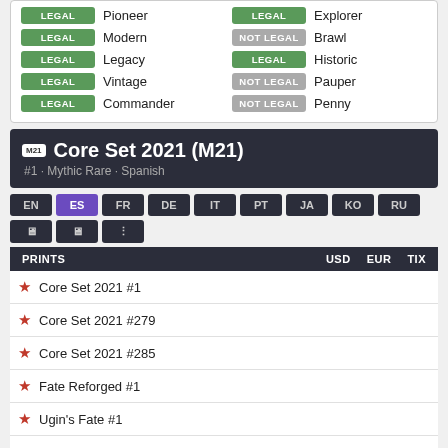| Status | Format | Status | Format |
| --- | --- | --- | --- |
| LEGAL | Pioneer | LEGAL | Explorer |
| LEGAL | Modern | NOT LEGAL | Brawl |
| LEGAL | Legacy | LEGAL | Historic |
| LEGAL | Vintage | NOT LEGAL | Pauper |
| LEGAL | Commander | NOT LEGAL | Penny |
Core Set 2021 (M21) #1 · Mythic Rare · Spanish
EN ES FR DE IT PT JA KO RU
| PRINTS | USD | EUR | TIX |
| --- | --- | --- | --- |
| Core Set 2021 #1 |  |  |  |
| Core Set 2021 #279 |  |  |  |
| Core Set 2021 #285 |  |  |  |
| Fate Reforged #1 |  |  |  |
| Ugin's Fate #1 |  |  |  |
View all prints →